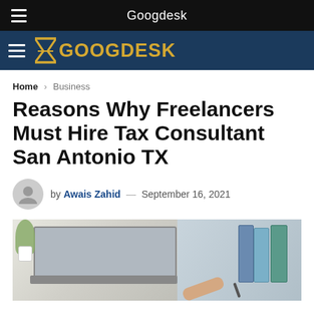Googdesk
GOOGDESK
Home > Business
Reasons Why Freelancers Must Hire Tax Consultant San Antonio TX
by Awais Zahid — September 16, 2021
[Figure (photo): Photo of a laptop on a desk with tax documents and binders in the background]